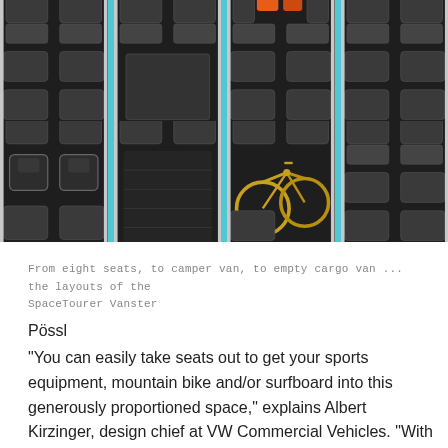[Figure (photo): Overhead grid view of 8 van interior configurations (2 rows × 4 columns separated by teal dividers) showing different seat and cargo arrangements of the SpaceTourer Vanster, including full seating, camper van layout, empty cargo hold, and a version with bicycles loaded.]
From eight seats, to camper van, to empty cargo van ... the layouts of the SpaceTourer Vanster
Pössl
“You can easily take seats out to get your sports equipment, mountain bike and/or surfboard into this generously proportioned space,” explains Albert Kirzinger, design chief at VW Commercial Vehicles. “With these